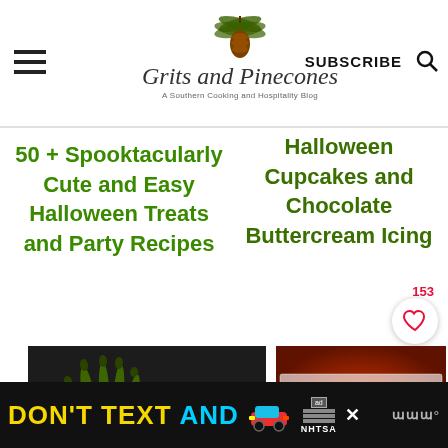Grits and Pinecones — A Southern Cooking and Hospitality Blog
50 + Spooktacularly Cute and Easy Halloween Treats and Party Recipes
Halloween Cupcakes and Chocolate Buttercream Icing
[Figure (photo): Witch hand with striped sleeve on dark background]
[Figure (photo): Halloween cookies in a box on red background]
153
DON'T TEXT AND [car emoji] [ad] [X] NHTSA [logo]